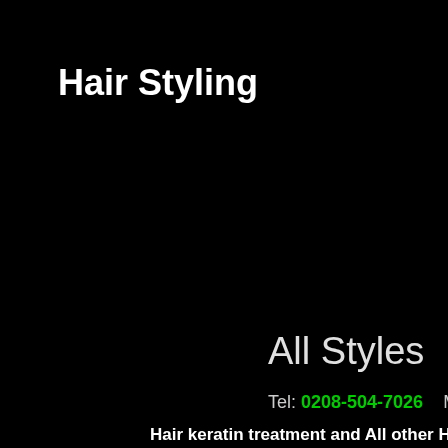Hair Styling
All Styles
Tel: 0208-504-7026   Mo
Hair keratin treatment and All other Hair